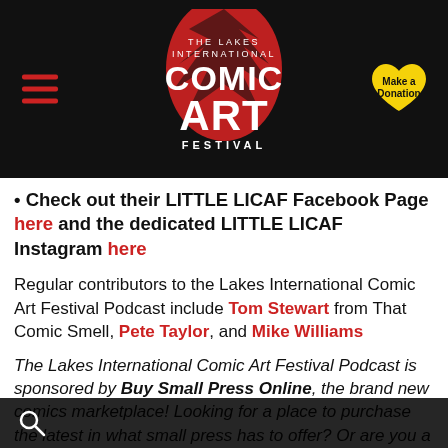[Figure (logo): The Lakes International Comic Art Festival logo on black background with red swoosh graphic, hamburger menu icon in red on left, yellow heart donation button on right]
• Check out their LITTLE LICAF Facebook Page here and the dedicated LITTLE LICAF Instagram here
Regular contributors to the Lakes International Comic Art Festival Podcast include Tom Stewart from That Comic Smell, Pete Taylor, and Mike Williams
The Lakes International Comic Art Festival Podcast is sponsored by Buy Small Press Online, the brand new comics marketplace! Looking for a place to purchase the latest in what small press has to offer? Or are you a creator looking to build an online store?